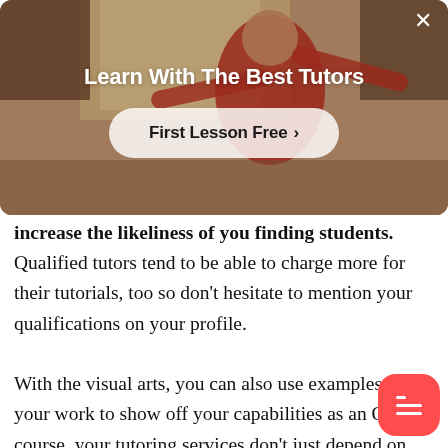[Figure (photo): A person in a red top with arms extended in a room with warm window light, serving as a hero banner image with overlay title 'Learn With The Best Tutors' and a 'First Lesson Free >' call-to-action button]
increase the likeliness of you finding students. Qualified tutors tend to be able to charge more for their tutorials, too so don't hesitate to mention your qualifications on your profile.
With the visual arts, you can also use examples of your work to show off your capabilities as an Of course, your tutoring services don't just depend on whether you're good with acrylic, mixed media